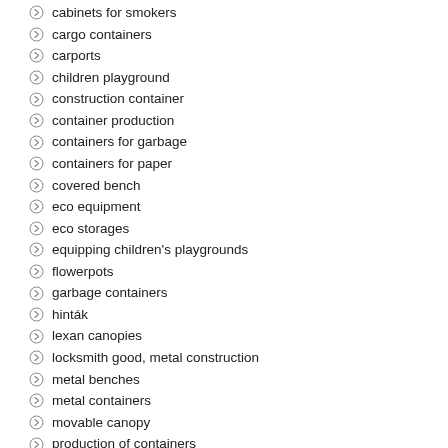cabinets for smokers
cargo containers
carports
children playground
construction container
container production
containers for garbage
containers for paper
covered bench
eco equipment
eco storages
equipping children's playgrounds
flowerpots
garbage containers
hinták
lexan canopies
locksmith good, metal construction
metal benches
metal containers
movable canopy
production of containers
refuse collector
roundabout
seesaws
shelters for bicycles
shelters for smokers
stationary containers
stocks
urban equipment
waste container